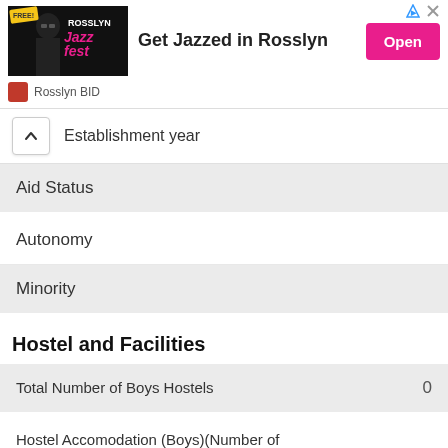[Figure (infographic): Advertisement banner for Rosslyn Jazz Fest with image of performer, text 'Get Jazzed in Rosslyn', and Open button. Branding: Rosslyn BID.]
Establishment year
Aid Status
Autonomy
Minority
Hostel and Facilities
Total Number of Boys Hostels    0
Hostel Accomodation (Boys)(Number of rooms)
Boys Hostel(Number of beds)